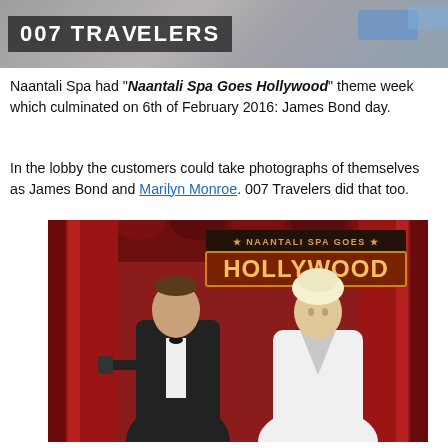[Figure (photo): Header banner photo showing part of a scene with text overlay '007 TRAVELERS']
Naantali Spa had "Naantali Spa Goes Hollywood" theme week which culminated on 6th of February 2016: James Bond day.
In the lobby the customers could take photographs of themselves as James Bond and Marilyn Monroe. 007 Travelers did that too.
[Figure (photo): Photo of two people posing as James Bond and Marilyn Monroe in front of a red curtain backdrop with a sign reading 'Naantali Spa Goes Hollywood']